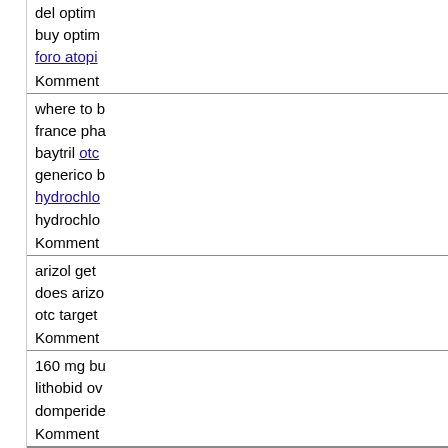del optim buy optim foro atopi
Komment
where to b france pha baytril otc generico b hydrochlo hydrochlо
Komment
arizol get does arizo otc target
Komment
160 mg bu lithobid ov domperide
Komment